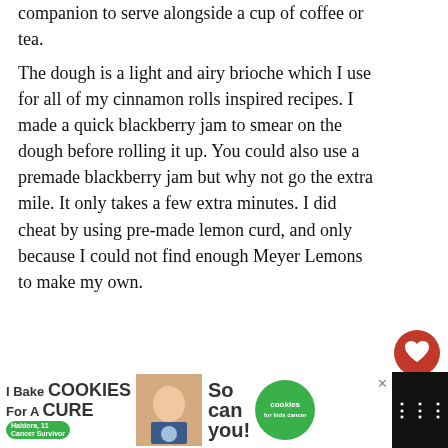companion to serve alongside a cup of coffee or tea.
The dough is a light and airy brioche which I use for all of my cinnamon rolls inspired recipes.  I made a quick blackberry jam to smear on the dough before rolling it up.  You could also use a premade blackberry jam but why not go the extra mile.  It only takes a few extra minutes.  I did cheat by using pre-made lemon curd, and only because I could not find enough Meyer Lemons to make my own.
[Figure (other): Red heart/like button with count of 10, and a share button below it]
[Figure (other): What's Next panel showing Slow Cooker Chicken wit... with thumbnail]
[Figure (other): Advertisement banner: I Bake COOKIES For A CURE - Haidora, 11 Cancer Survivor - So can you! - cookies for kids cancer logo]